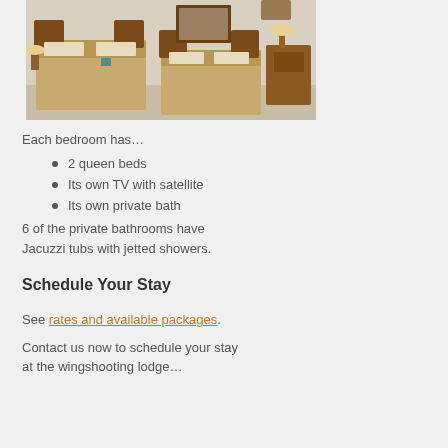[Figure (photo): Hotel bedroom with two queen beds with golden/tan bedspreads, wooden headboards and furniture, white walls]
Each bedroom has…
2 queen beds
Its own TV with satellite
Its own private bath
6 of the private bathrooms have Jacuzzi tubs with jetted showers.
Schedule Your Stay
See rates and available packages.
Contact us now to schedule your stay at the wingshooting lodge…